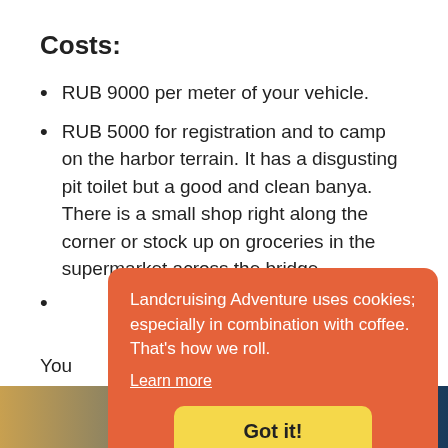Costs:
RUB 9000 per meter of your vehicle.
RUB 5000 for registration and to camp on the harbor terrain. It has a disgusting pit toilet but a good and clean banya. There is a small shop right along the corner or stock up on groceries in the supermarket across the bridge.
(partially visible bullet)
You
Ust
[Figure (screenshot): Cookie consent banner with orange background reading: 'Landcruising Adventure uses cookies; especially in combination with coffee. That's how we roll.' with a 'Learn more' link and a yellow 'Got it!' button]
[Figure (photo): Bottom strip showing an outdoor/landscape photo]